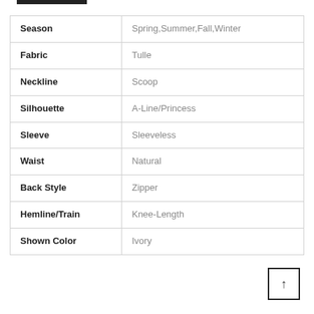| Season | Spring,Summer,Fall,Winter |
| Fabric | Tulle |
| Neckline | Scoop |
| Silhouette | A-Line/Princess |
| Sleeve | Sleeveless |
| Waist | Natural |
| Back Style | Zipper |
| Hemline/Train | Knee-Length |
| Shown Color | Ivory |